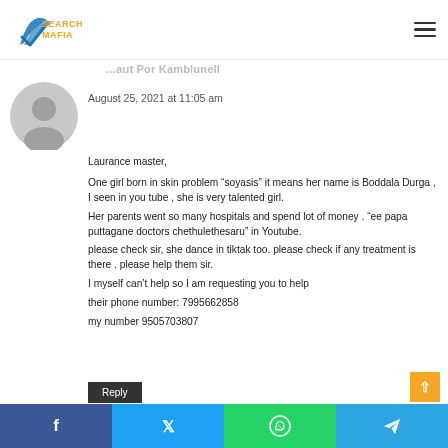Search Mafia logo and navigation
August 25, 2021 at 11:05 am
Laurance master,

One girl born in skin problem “soyasis” it means her name is Boddala Durga , I seen in you tube , she is very talented girl.
Her parents went so many hospitals and spend lot of money . “ee papa puttagane doctors chethulethesaru” in Youtube.
please check sir, she dance in tiktak too. please check if any treatment is there . please help them sir.
I myself can’t help so I am requesting you to help
their phone number: 7995662858
my number 9505703807
Reply